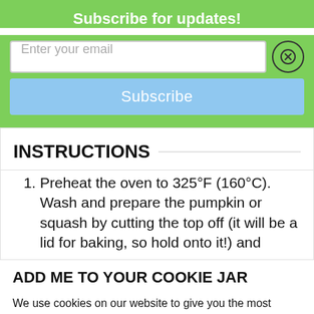Subscribe for updates!
Enter your email
Subscribe
INSTRUCTIONS
Preheat the oven to 325°F (160°C). Wash and prepare the pumpkin or squash by cutting the top off (it will be a lid for baking, so hold onto it!) and
ADD ME TO YOUR COOKIE JAR
We use cookies on our website to give you the most relevant experience by remembering your preferences and repeat visits. By clicking "Accept", you consent to the use of ALL the cookies.
Opt Out.
Cookie settings
ACCEPT